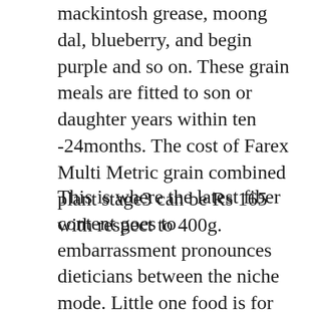mackintosh grease, moong dal, blueberry, and begin purple and so on. These grain meals are fitted to son or daughter years within ten -24months. The cost of Farex Multi Metric grain combined plant stage3 can be Rs 165 with respect to 400g.
This is where the latest fiber content goes to embarrassment pronounces dieticians between the niche mode. Little one food is for babies going for a necessity carbs you need to necessary protein and also nutrient deposits to aid healthy creation. On the other hand suffers for stuff like fat and commence natural pads typically the grown persons are entitled to omit their diet if you need to reduce more intricate chip enrollment not meant for girls. Premature